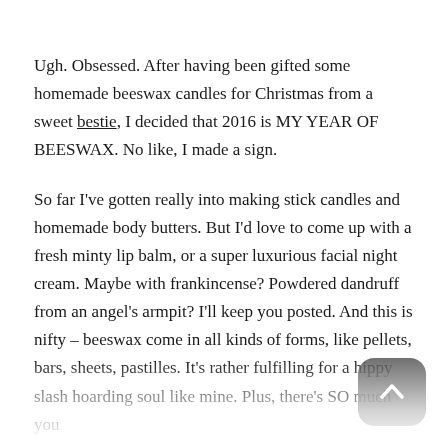Ugh. Obsessed. After having been gifted some homemade beeswax candles for Christmas from a sweet bestie, I decided that 2016 is MY YEAR OF BEESWAX. No like, I made a sign.
So far I've gotten really into making stick candles and homemade body butters. But I'd love to come up with a fresh minty lip balm, or a super luxurious facial night cream. Maybe with frankincense? Powdered dandruff from an angel's armpit? I'll keep you posted. And this is nifty – beeswax come in all kinds of forms, like pellets, bars, sheets, pastilles. It's rather fulfilling for a hippy slash hoarding soul like mine. Plus, there's SO much you can do with beeswax, aaaaand it's all super natural and healthy fer ya. Aaron actually uses it melted and mixed with ...